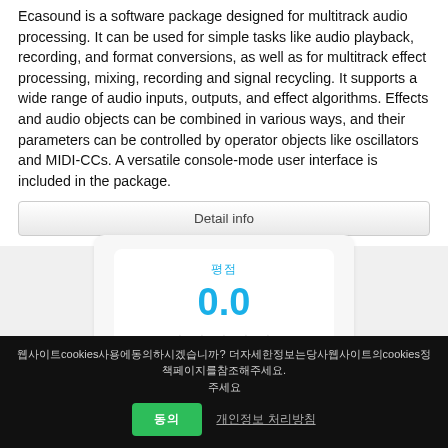Ecasound is a software package designed for multitrack audio processing. It can be used for simple tasks like audio playback, recording, and format conversions, as well as for multitrack effect processing, mixing, recording and signal recycling. It supports a wide range of audio inputs, outputs, and effect algorithms. Effects and audio objects can be combined in various ways, and their parameters can be controlled by operator objects like oscillators and MIDI-CCs. A versatile console-mode user interface is included in the package.
Detail info
[Figure (infographic): Rating widget showing score 0.0, five empty stars, and 0 ratings label in Korean]
웹사이트cookies사용에동의하시겠습니까? 더자세한정보는당사웹사이트의cookies정책페이지를참조해주세요.
동의  개인정보 처리방침